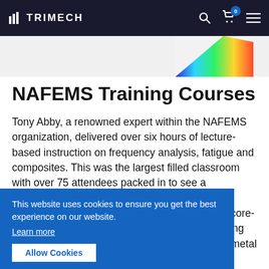TRIMECH
[Figure (photo): Colorful heat map / FEA simulation result image strip at top of page]
NAFEMS Training Courses
Tony Abby, a renowned expert within the NAFEMS organization, delivered over six hours of lecture-based instruction on frequency analysis, fatigue and composites. This was the largest filled classroom with over 75 attendees packed in to see a comprehensive overview of the common misconceptions relating to these topics. Tony's core-concepts approach lays the groundwork for taking on more complex problems such as identifying metal fatigue, utilizing Haigh diagrams, or why
This website uses cookies to ensure you get the best experience on our website.
Learn more
Allow Cookies